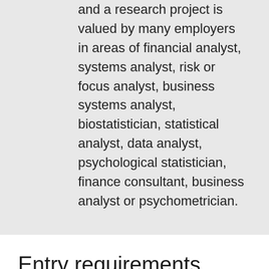and a research project is valued by many employers in areas of financial analyst, systems analyst, risk or focus analyst, business systems analyst, biostatistician, statistical analyst, data analyst, psychological statistician, finance consultant, business analyst or psychometrician.
Entry requirements
Pre-requisites
Subject pre-requisite: English (Units 3 & 4